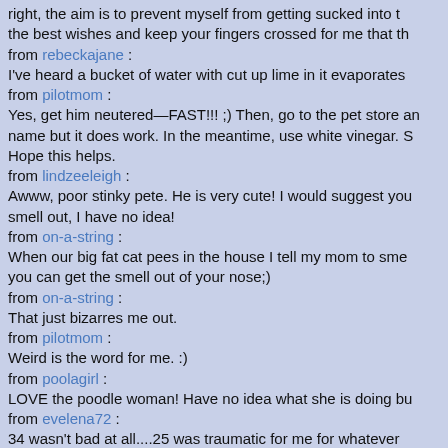right, the aim is to prevent myself from getting sucked into t the best wishes and keep your fingers crossed for me that th
from rebeckajane : I've heard a bucket of water with cut up lime in it evaporates
from pilotmom : Yes, get him neutered—FAST!!! ;) Then, go to the pet store an name but it does work. In the meantime, use white vinegar. S Hope this helps.
from lindzeeleigh : Awww, poor stinky pete. He is very cute! I would suggest you smell out, I have no idea!
from on-a-string : When our big fat cat pees in the house I tell my mom to sme you can get the smell out of your nose;)
from on-a-string : That just bizarres me out.
from pilotmom : Weird is the word for me. :)
from poolagirl : LOVE the poodle woman! Have no idea what she is doing bu
from evelena72 : 34 wasn't bad at all....25 was traumatic for me for whatever grandmother is 85 and the picture of health!
from brdwaybebe :